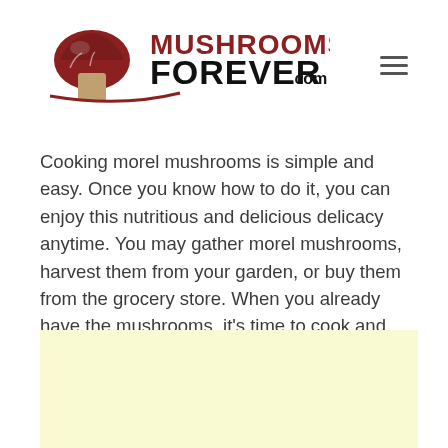[Figure (logo): Mushrooms Forever .com logo with mushroom graphic on left and bold text on right]
Cooking morel mushrooms is simple and easy. Once you know how to do it, you can enjoy this nutritious and delicious delicacy anytime. You may gather morel mushrooms, harvest them from your garden, or buy them from the grocery store. When you already have the mushrooms, it’s time to cook and prepare them.
[Figure (other): Light yellow advertisement placeholder box]